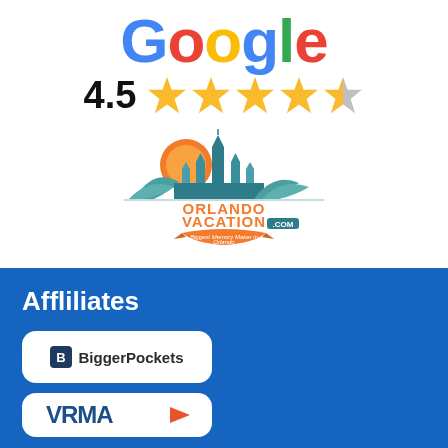[Figure (logo): Google logo with colorful letters]
[Figure (other): 4.5 star rating with four gold stars and one half gold/grey star]
[Figure (logo): OrlandoVacation.com logo with castle and sun imagery and tagline 'Biggest Memory Maker in Orlando']
Affliliates
[Figure (logo): BiggerPockets logo badge]
[Figure (logo): VRMA logo badge (partially visible)]